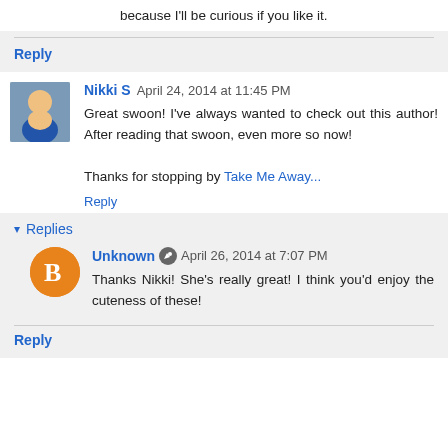because I'll be curious if you like it.
Reply
Nikki S  April 24, 2014 at 11:45 PM
Great swoon! I've always wanted to check out this author! After reading that swoon, even more so now!

Thanks for stopping by Take Me Away...
Reply
Replies
Unknown  April 26, 2014 at 7:07 PM
Thanks Nikki! She's really great! I think you'd enjoy the cuteness of these!
Reply